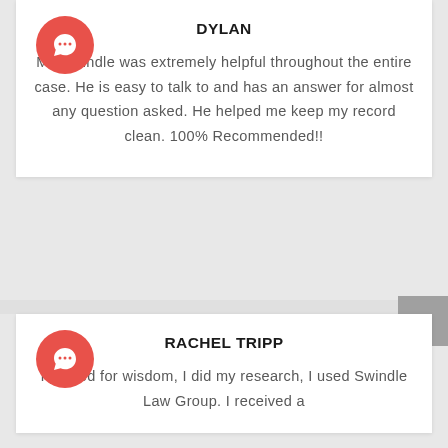DYLAN
Mr. Swindle was extremely helpful throughout the entire case. He is easy to talk to and has an answer for almost any question asked. He helped me keep my record clean. 100% Recommended!!
RACHEL TRIPP
I prayed for wisdom, I did my research, I used Swindle Law Group. I received a